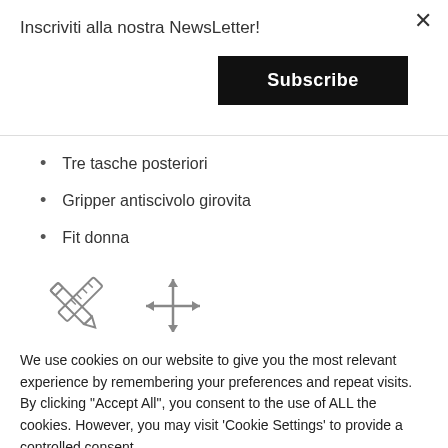Inscriviti alla nostra NewsLetter!
Subscribe
Tre tasche posteriori
Gripper antiscivolo girovita
Fit donna
[Figure (illustration): Two crossed tools (ruler and pencil) icon and a four-directional arrow/move icon]
We use cookies on our website to give you the most relevant experience by remembering your preferences and repeat visits. By clicking "Accept All", you consent to the use of ALL the cookies. However, you may visit 'Cookie Settings' to provide a controlled consent.
Cookie Settings
Accept All